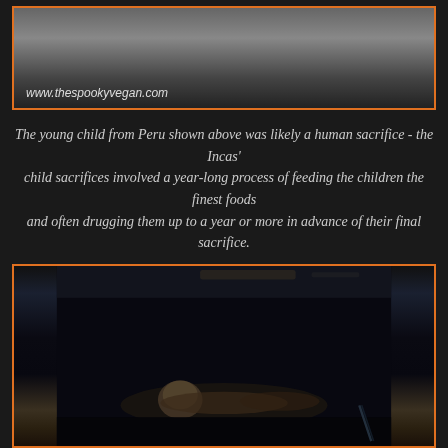[Figure (photo): Top portion of a photo showing a mummy or preserved human remains from Peru, with the watermark www.thespookyvegan.com visible at the bottom left of the image frame]
The young child from Peru shown above was likely a human sacrifice - the Incas' child sacrifices involved a year-long process of feeding the children the finest foods and often drugging them up to a year or more in advance of their final sacrifice.
[Figure (photo): A dark photograph showing a mummified child laid out horizontally, likely the Inca child sacrifice mummy displayed in a museum setting with dark background lighting]